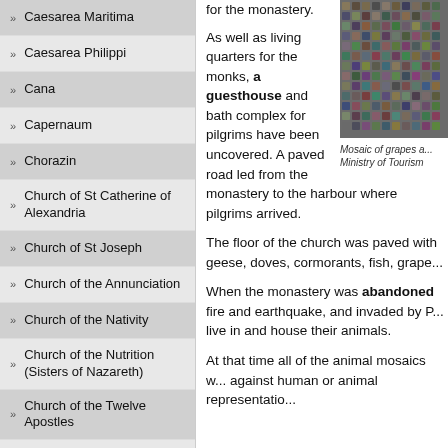Caesarea Maritima
Caesarea Philippi
Cana
Capernaum
Chorazin
Church of St Catherine of Alexandria
Church of St Joseph
Church of the Annunciation
Church of the Nativity
Church of the Nutrition (Sisters of Nazareth)
Church of the Twelve Apostles
Dead Sea
for the monastery.
As well as living quarters for the monks, a guesthouse and bath complex for pilgrims have been uncovered. A paved road led from the monastery to the harbour where pilgrims arrived.
[Figure (photo): Mosaic of grapes pattern, credited to Ministry of Tourism]
Mosaic of grapes a... Ministry of Tourism
The floor of the church was paved with geese, doves, cormorants, fish, grape...
When the monastery was abandoned fire and earthquake, and invaded by P... live in and house their animals.
At that time all of the animal mosaics w... against human or animal representatio...